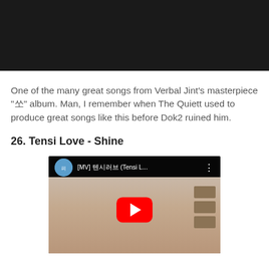[Figure (screenshot): Dark black video player area at the top of the page]
One of the many great songs from Verbal Jint's masterpiece "쏘" album. Man, I remember when The Quiett used to produce great songs like this before Dok2 ruined him.
26. Tensi Love - Shine
[Figure (screenshot): YouTube video thumbnail for [MV] 텐시러브 (Tensi L... showing a girl writing at a desk with the YouTube play button overlay]